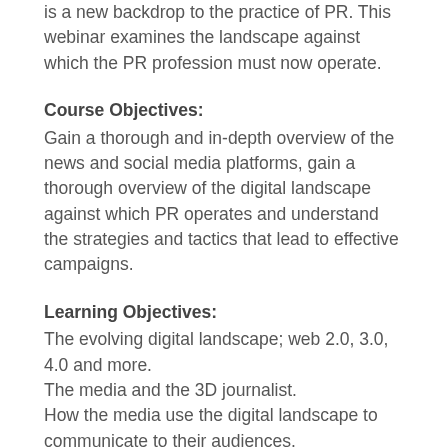is a new backdrop to the practice of PR. This webinar examines the landscape against which the PR profession must now operate.
Course Objectives:
Gain a thorough and in-depth overview of the news and social media platforms, gain a thorough overview of the digital landscape against which PR operates and understand the strategies and tactics that lead to effective campaigns.
Learning Objectives:
The evolving digital landscape; web 2.0, 3.0, 4.0 and more.
The media and the 3D journalist.
How the media use the digital landscape to communicate to their audiences.
Social media and how it is more than social networking.